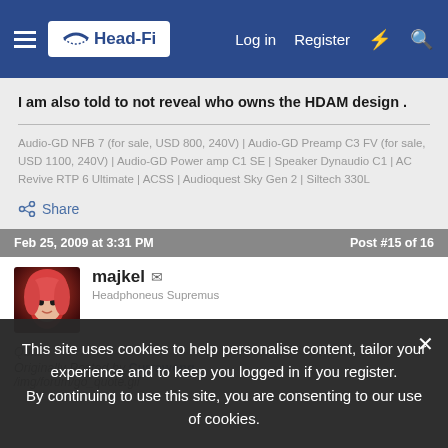Head-Fi — Log in   Register
I am also told to not reveal who owns the HDAM design .
Audio-GD NFB 7 (for sale, USD 800, 240V) | Audio-GD Preamp C3 FV (for sale, USD 1100, 240V) | Audio-GD Power amp C1 SE | Speaker Dynaudio C1 | AC Revive RTP 6 Ultimate | ACSS | Audioquest Sky Gen 2 | Siltech 330L
Share
Feb 25, 2009 at 3:31 PM
Post #15 of 16
[Figure (photo): Avatar of user majkel — person with red/pink hair]
majkel
Headphoneus Supremus
This site uses cookies to help personalise content, tailor your experience and to keep you logged in if you register. By continuing to use this site, you are consenting to our use of cookies.
Originally Posted by Currawong
/img/forum/go_quote.gif